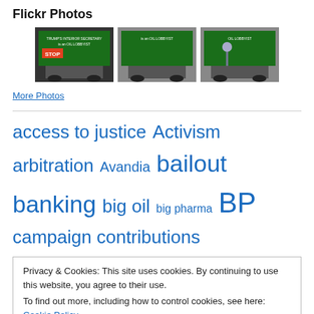Flickr Photos
[Figure (photo): Three thumbnail photos showing a billboard truck with 'OIL LOBBYIST' message in a parking lot, shown from different angles with a person standing in front of one.]
More Photos
access to justice  Activism  arbitration  Avandia  bailout  banking  big oil  big pharma  BP  campaign contributions
Privacy & Cookies: This site uses cookies. By continuing to use this website, you agree to their use.
To find out more, including how to control cookies, see here: Cookie Policy
Close and accept
Protection  corporate power  credit cards  DISCLOSE